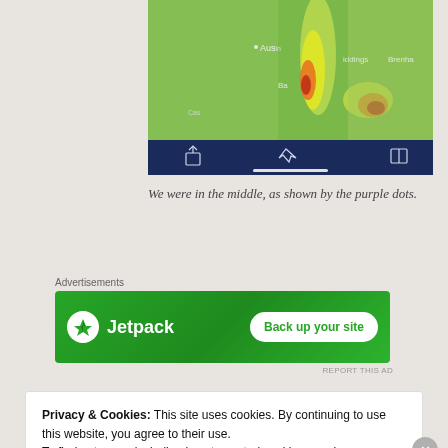[Figure (screenshot): Screenshot of a mobile weather/map app showing a heat map overlay with place names including Austin, Bastrop, Giddings, Brenham. The bottom shows a dark navy toolbar with share, navigation, and book icons, and a white home indicator bar.]
We were in the middle, as shown by the purple dots.
Advertisements
[Figure (infographic): Jetpack advertisement banner with green background. Shows Jetpack logo (white circle with lightning bolt) and text 'Jetpack' on the left, and a white button 'Back up your site' on the right.]
Privacy & Cookies: This site uses cookies. By continuing to use this website, you agree to their use.
To find out more, including how to control cookies, see here:
Cookie Policy
Close and accept